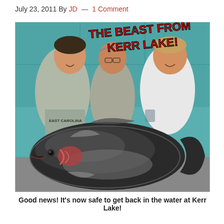July 23, 2011 By JD — 1 Comment
[Figure (photo): Three men smiling and holding a very large dark-colored fish (catfish or similar large catch). The man on the left wears an East Carolina shirt, the man in the middle wears glasses, the man on the right wears a white sleeveless shirt. Text overlay on photo reads 'THE BEAST FROM KERR LAKE!' in red stylized lettering.]
Good news! It's now safe to get back in the water at Kerr Lake!